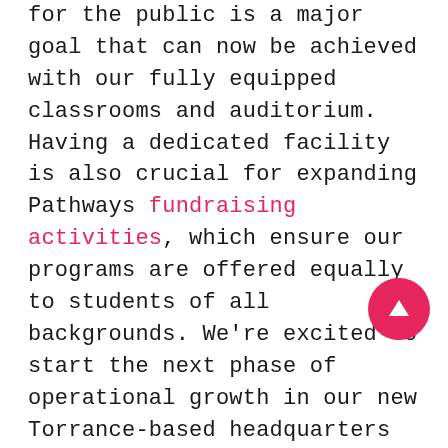for the public is a major goal that can now be achieved with our fully equipped classrooms and auditorium. Having a dedicated facility is also crucial for expanding Pathways fundraising activities, which ensure our programs are offered equally to students of all backgrounds. We're excited to start the next phase of operational growth in our new Torrance-based headquarters and will be holding a formal open day in March 2020.  Save the date!
Follow our lab renovation in real time on our social media pages.
BAM architecture studios were the